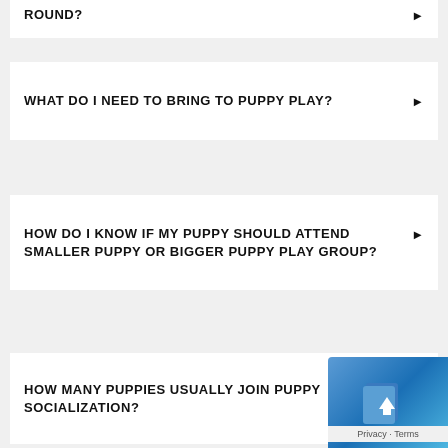ROUND?
WHAT DO I NEED TO BRING TO PUPPY PLAY?
HOW DO I KNOW IF MY PUPPY SHOULD ATTEND SMALLER PUPPY OR BIGGER PUPPY PLAY GROUP?
HOW MANY PUPPIES USUALLY JOIN PUPPY SOCIALIZATION?
[Figure (other): Privacy/Terms overlay icon with blue gradient background]